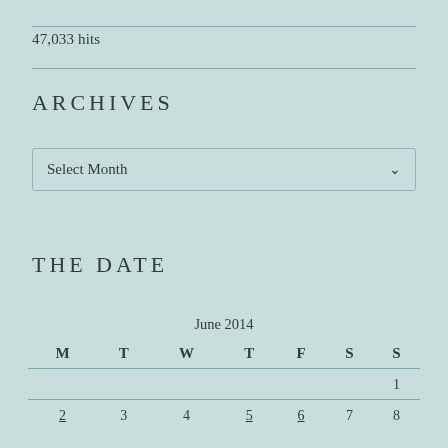47,033 hits
ARCHIVES
[Figure (other): Select Month dropdown widget]
THE DATE
| M | T | W | T | F | S | S |
| --- | --- | --- | --- | --- | --- | --- |
|  |  |  |  |  |  | 1 |
| 2 | 3 | 4 | 5 | 6 | 7 | 8 |